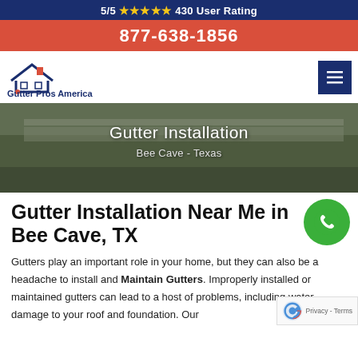5/5 ★★★★★ 430 User Rating
877-638-1856
[Figure (logo): Gutter Pros America logo with house outline icon and company name]
[Figure (photo): Close-up photo of gutters on a roofline, shown at dusk/overcast light]
Gutter Installation
Bee Cave - Texas
Gutter Installation Near Me in Bee Cave, TX
Gutters play an important role in your home, but they can also be a headache to install and Maintain Gutters. Improperly installed or maintained gutters can lead to a host of problems, including water damage to your roof and foundation. Our